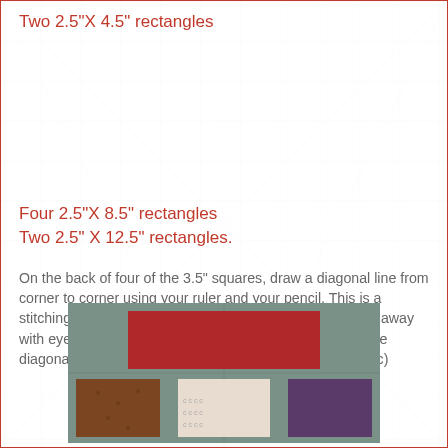Two 2.5"X 4.5" rectangles
Four 2.5"X 8.5" rectangles
Two 2.5" X 12.5" rectangles.
On the back of four of the 3.5" squares, draw a diagonal line from corner to corner using your ruler and your pencil. This is a stitching guide line. On smaller corners like this, I can get away with eyeballing to sew, but when you get up to stitching the diagonal on a square this big...it's best to mark that line! :c)
[Figure (photo): Photo of quilt fabric pieces on a cutting mat: a wide red rectangle on top, and three smaller squares below — brown/rust on left, cream/white with small pattern in center, purple on right.]